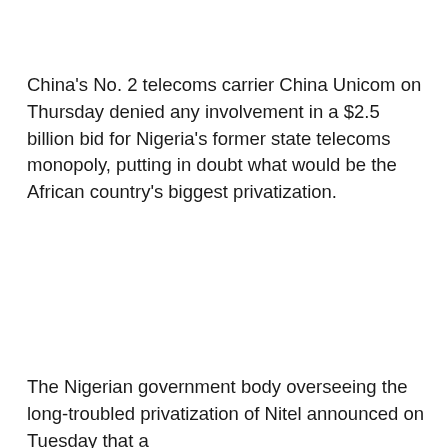China's No. 2 telecoms carrier China Unicom on Thursday denied any involvement in a $2.5 billion bid for Nigeria's former state telecoms monopoly, putting in doubt what would be the African country's biggest privatization.
The Nigerian government body overseeing the long-troubled privatization of Nitel announced on Tuesday that a